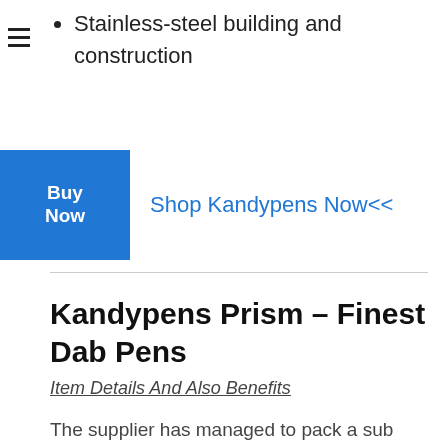Stainless-steel building and construction
Buy Now
Shop Kandypens Now<<
Kandypens Prism – Finest Dab Pens
Item Details And Also Benefits
The supplier has managed to pack a sub house vaporizer into one of one of the most compact kind variables that are available on the marketplace today. You will certainly not struggle